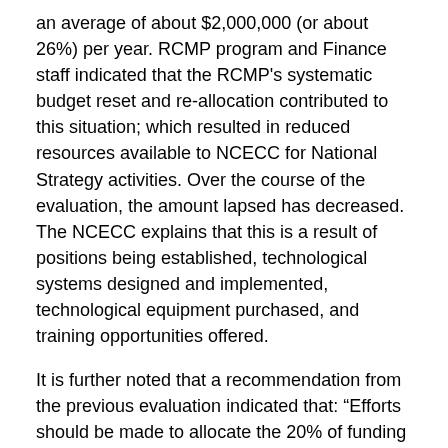an average of about $2,000,000 (or about 26%) per year. RCMP program and Finance staff indicated that the RCMP's systematic budget reset and re-allocation contributed to this situation; which resulted in reduced resources available to NCECC for National Strategy activities. Over the course of the evaluation, the amount lapsed has decreased. The NCECC explains that this is a result of positions being established, technological systems designed and implemented, technological equipment purchased, and training opportunities offered.
It is further noted that a recommendation from the previous evaluation indicated that: “Efforts should be made to allocate the 20% of funding that is consistently under spent by the RCMP to forensics support for investigators…It is important to note that control of the funding should remain with NCECC to ensure that the funding is spent on Strategy activities.” [90] It is unclear if implementation of this recommendation has been actioned.